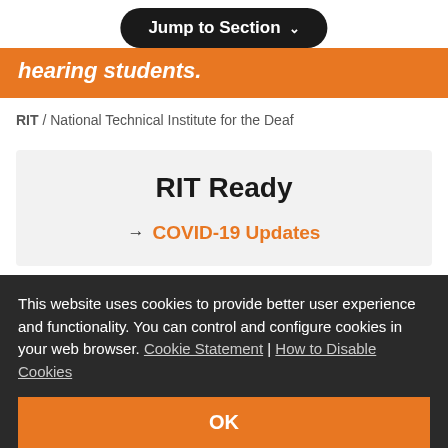Jump to Section ∨
hearing students.
RIT / National Technical Institute for the Deaf
RIT Ready
→ COVID-19 Updates
This website uses cookies to provide better user experience and functionality. You can control and configure cookies in your web browser. Cookie Statement | How to Disable Cookies
OK